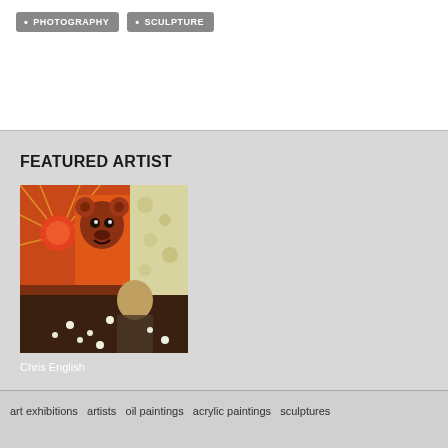PHOTOGRAPHY
SCULPTURE
FEATURED ARTIST
[Figure (photo): Photo of Chris English, an artist working on a colorful painting featuring an orange and brown bear-like character with a red sun in the background, with floral wallpaper visible.]
Chris English
art exhibitions  artists  oil paintings  acrylic paintings  sculptures